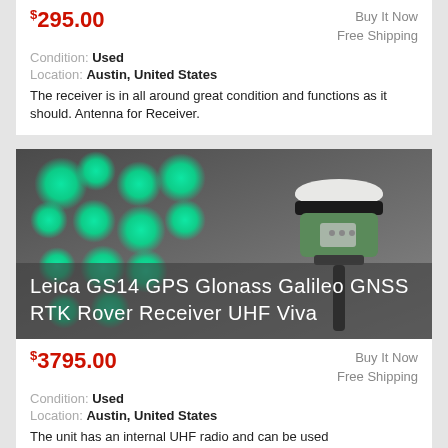$295.00
Buy It Now
Free Shipping
Condition: Used
Location: Austin, United States
The receiver is in all around great condition and functions as it should. Antenna for Receiver.
[Figure (photo): Leica GS14 GPS Glonass Galileo GNSS RTK Rover Receiver UHF Viva product listing image showing GPS rover on tripod with green bokeh lights in background]
$3795.00
Buy It Now
Free Shipping
Condition: Used
Location: Austin, United States
The unit has an internal UHF radio and can be used